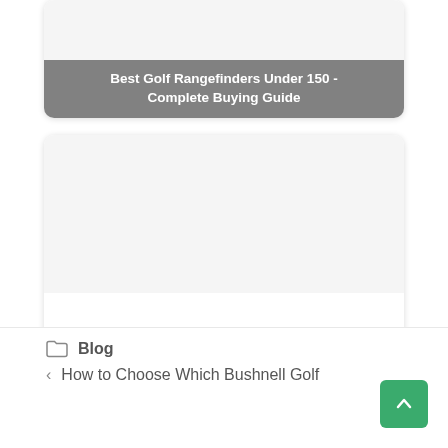[Figure (screenshot): Card with gray overlay label reading 'Best Golf Rangefinders Under 150 - Complete Buying Guide']
[Figure (screenshot): Card with gray overlay label reading 'Best Rangefinders in Fog 2022: Complete Buying Guide']
Blog
< How to Choose Which Bushnell Golf